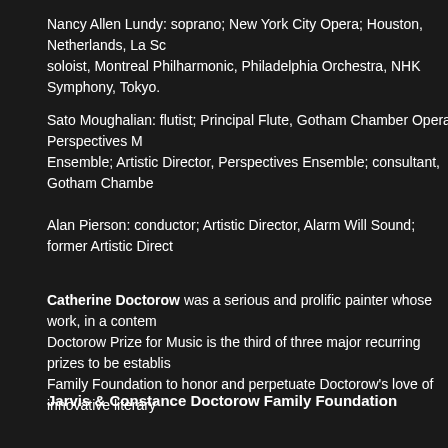Nancy Allen Lundy: soprano; New York City Opera; Houston, Netherlands, La Sc soloist, Montreal Philharmonic, Philadelphia Orchestra, NHK Symphony, Tokyo.
Sato Moughalian: flutist; Principal Flute, Gotham Chamber Opera, Perspectives Ensemble; Artistic Director, Perspectives Ensemble; consultant, Gotham Chambe
Alan Pierson: conductor; Artistic Director, Alarm Will Sound; former Artistic Direct
Catherine Doctorow was a serious and prolific painter whose work, in a contem Doctorow Prize for Music is the third of three major recurring prizes to be establis Family Foundation to honor and perpetuate Doctorow's love of innovative literary
Jarvis & Constance Doctorow Family Foundation
The Mission of the Jarvis & Constance Doctorow Family Foundation is to nurture mental health programs. The Foundation's Funding Philosophy is to support proj as organizations focused on performance, literary, and visual arts. JCDFF funds the range of their work.